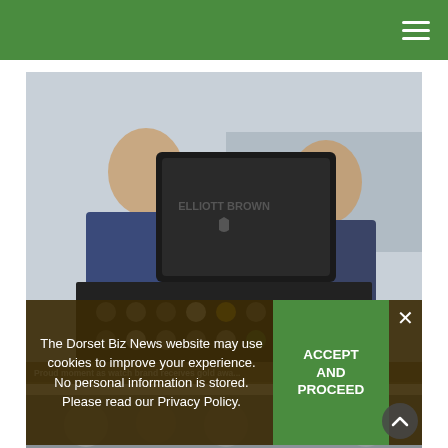Navigation menu (hamburger icon)
[Figure (photo): Two men holding open an Elliott Brown watch case displaying multiple watches, outdoors near a marina.]
Proud moment as watch brand receives gold awa...
The Dorset Biz News website may use cookies to improve your experience. No personal information is stored. Please read our Privacy Policy.
ACCEPT AND PROCEED
[Figure (photo): Bottom strip showing partial view of a crowd or outdoor scene.]